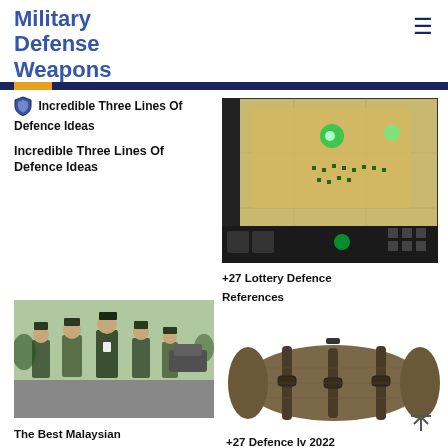Military Defense Weapons
Incredible Three Lines Of Defence Ideas
Incredible Three Lines Of Defence Ideas
[Figure (screenshot): Screenshot of a military tower defense video game showing units on a grid map]
+27 Lottery Defence References
[Figure (photo): Group of Malaysian military officers in camouflage uniforms walking together]
The Best Malaysian Defence News References
[Figure (photo): Olive/brown military sleeping bag or stuff sack with straps]
+27 Defence lv 2022